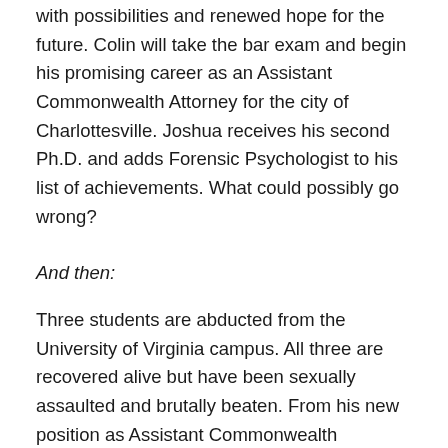with possibilities and renewed hope for the future. Colin will take the bar exam and begin his promising career as an Assistant Commonwealth Attorney for the city of Charlottesville. Joshua receives his second Ph.D. and adds Forensic Psychologist to his list of achievements. What could possibly go wrong?
And then:
Three students are abducted from the University of Virginia campus. All three are recovered alive but have been sexually assaulted and brutally beaten. From his new position as Assistant Commonwealth Attorney, Colin partners with both campus and city police in a combined task force determined to solve these horrific crimes and put the perpetrator behind bars. But can they succeed